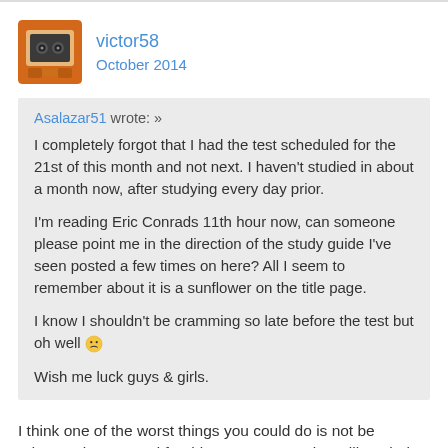victor58
October 2014
Asalazar51 wrote: »
I completely forgot that I had the test scheduled for the 21st of this month and not next. I haven't studied in about a month now, after studying every day prior.

I'm reading Eric Conrads 11th hour now, can someone please point me in the direction of the study guide I've seen posted a few times on here? All I seem to remember about it is a sunflower on the title page.

I know I shouldn't be cramming so late before the test but oh well 🙁

Wish me luck guys & girls.
I think one of the worst things you could do is not be adequately prepared for this exam. Cramming will not help for